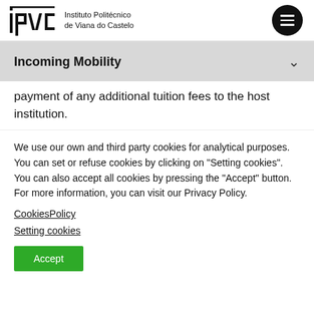[Figure (logo): IPVC logo with text 'Instituto Politécnico de Viana do Castelo']
Incoming Mobility
payment of any additional tuition fees to the host institution.
We use our own and third party cookies for analytical purposes. You can set or refuse cookies by clicking on "Setting cookies". You can also accept all cookies by pressing the "Accept" button. For more information, you can visit our Privacy Policy.
CookiesPolicy
Setting cookies
Accept